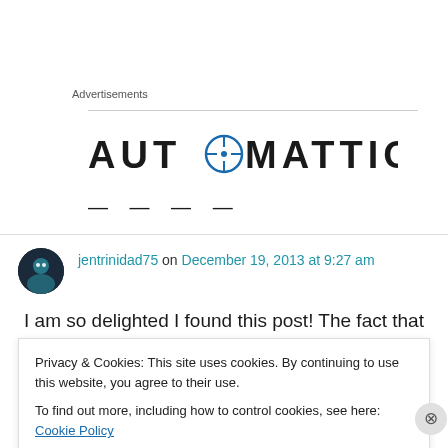Advertisements
[Figure (logo): Automattic logo with stylized O containing a compass/target icon]
— — — —
jentrinidad75 on December 19, 2013 at 9:27 am
I am so delighted I found this post! The fact that
Privacy & Cookies: This site uses cookies. By continuing to use this website, you agree to their use.
To find out more, including how to control cookies, see here: Cookie Policy
Close and accept